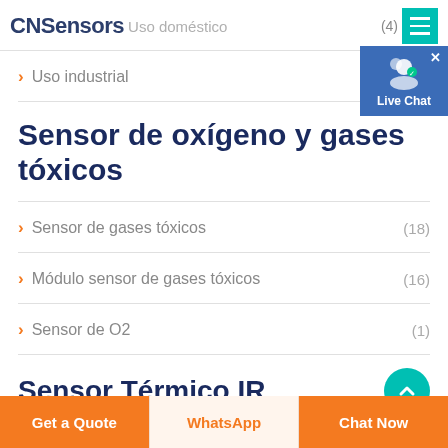CNSensors (4) ☰
Uso doméstico
> Uso industrial
Sensor de oxígeno y gases tóxicos
> Sensor de gases tóxicos (18)
> Módulo sensor de gases tóxicos (16)
> Sensor de O2 (1)
Sensor Térmico IR
[Figure (other): Live Chat widget button with person/group icon and blue background]
[Figure (other): Teal circular scroll-to-top button]
Get a Quote | WhatsApp | Chat Now